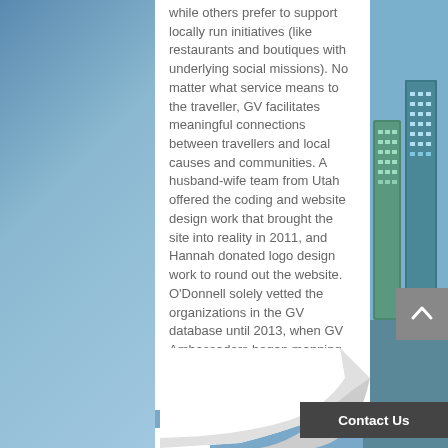while others prefer to support locally run initiatives (like restaurants and boutiques with underlying social missions). No matter what service means to the traveller, GV facilitates meaningful connections between travellers and local causes and communities. A husband-wife team from Utah offered the coding and website design work that brought the site into reality in 2011, and Hannah donated logo design work to round out the website. O'Donnell solely vetted the organizations in the GV database until 2013, when GV Ambassadors began mapping the world and expanding the project into every country and continent. Since then, Grassroots Volunteering is a resource to connect travellers to causes and communities in the places they travel. The site consists of a dual database of organizations all over the world: Volunteer Opportunities: Independent volunteer organizations all over the world. Travelle... with weeks and months (years even!) u...